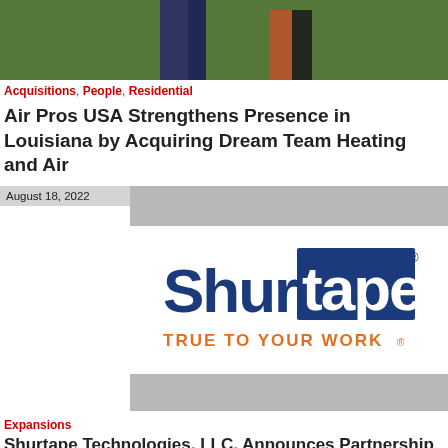[Figure (photo): Partial photo showing legs on grass, cropped at top of page]
Acquisitions, People, Residential
Air Pros USA Strengthens Presence in Louisiana by Acquiring Dream Team Heating and Air
August 18, 2022
[Figure (logo): Shurtape logo with 'Shur' in dark blue and 'tape' in dark blue rectangle with registered trademark symbol, tagline 'TRUE TO YOUR WORK' in orange below]
Expansions
Shurtape Technologies, LLC, Announces Partnership with Nastro Technologies